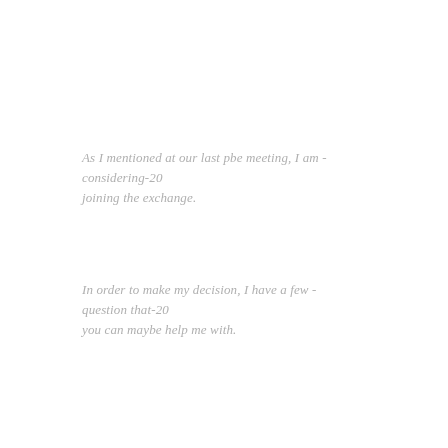As I mentioned at our last pbe meeting, I am - considering-20 joining the exchange.
In order to make my decision, I have a few - question that-20 you can maybe help me with.